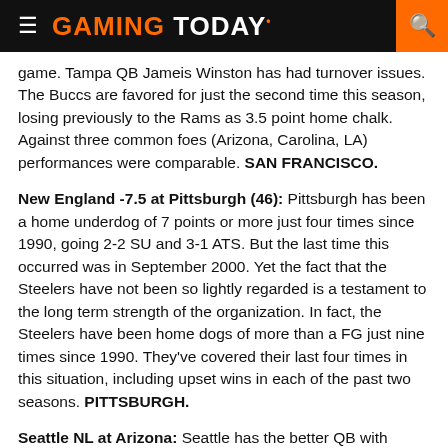GAMING TODAY
game. Tampa QB Jameis Winston has had turnover issues. The Buccs are favored for just the second time this season, losing previously to the Rams as 3.5 point home chalk. Against three common foes (Arizona, Carolina, LA) performances were comparable. SAN FRANCISCO.
New England -7.5 at Pittsburgh (46): Pittsburgh has been a home underdog of 7 points or more just four times since 1990, going 2-2 SU and 3-1 ATS. But the last time this occurred was in September 2000. Yet the fact that the Steelers have not been so lightly regarded is a testament to the long term strength of the organization. In fact, the Steelers have been home dogs of more than a FG just nine times since 1990. They've covered their last four times in this situation, including upset wins in each of the past two seasons. PITTSBURGH.
Seattle NL at Arizona: Seattle has the better QB with